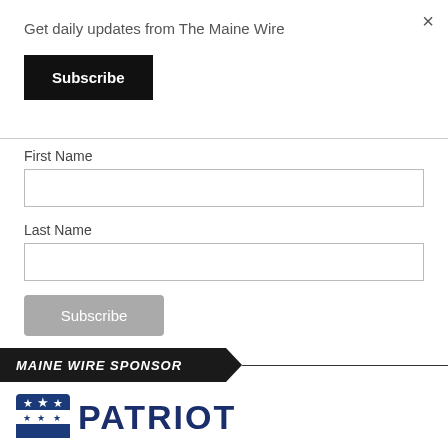×
Get daily updates from The Maine Wire
Subscribe
First Name
Last Name
Subscribe
MAINE WIRE SPONSOR
[Figure (logo): Patriot logo with shield and stars and text PATRIOT]